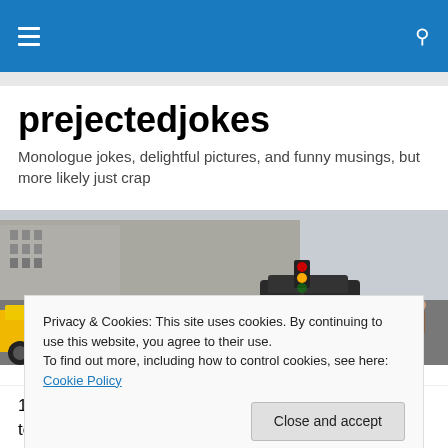prejectedjokes — navigation bar
prejectedjokes
Monologue jokes, delightful pictures, and funny musings, but more likely just crap
[Figure (photo): New York City street scene with yellow taxis, pedestrians crossing, and urban buildings in the background]
Privacy & Cookies: This site uses cookies. By continuing to use this website, you agree to their use.
To find out more, including how to control cookies, see here: Cookie Policy
1. It is being reported that when Tiger Woods returns to